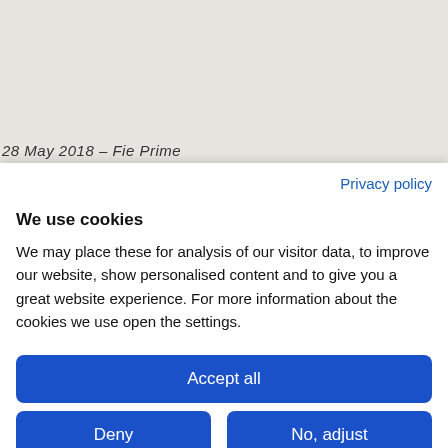[Figure (map): Partial map screenshot with beige/tan background visible in upper portion of page]
28 May 2018 – Fie Prime
Privacy policy
We use cookies
We may place these for analysis of our visitor data, to improve our website, show personalised content and to give you a great website experience. For more information about the cookies we use open the settings.
Accept all
Deny
No, adjust